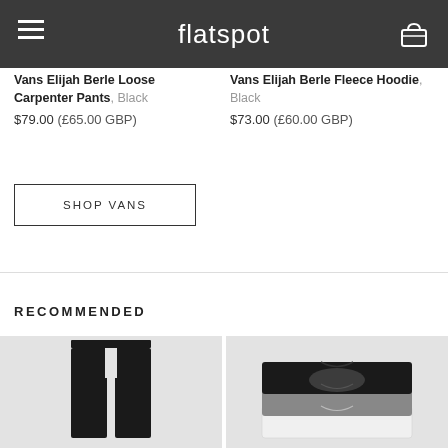flatspot
Vans Elijah Berle Loose Carpenter Pants, Black
$79.00 (£65.00 GBP)
Vans Elijah Berle Fleece Hoodie, Black
$73.00 (£60.00 GBP)
SHOP VANS
RECOMMENDED
[Figure (photo): Black carpenter pants product photo on light grey background]
[Figure (photo): Stacked t-shirts (black, grey, white) with Dickies logo on light grey background]